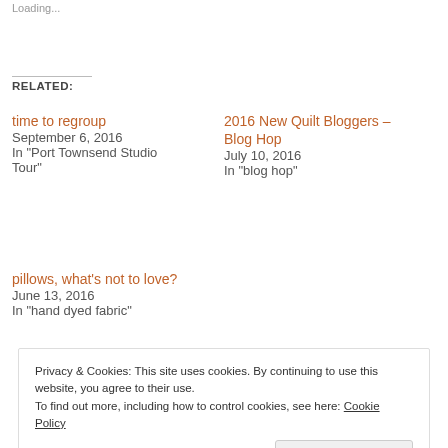Loading...
RELATED:
time to regroup
September 6, 2016
In "Port Townsend Studio Tour"
2016 New Quilt Bloggers – Blog Hop
July 10, 2016
In "blog hop"
pillows, what's not to love?
June 13, 2016
In "hand dyed fabric"
Privacy & Cookies: This site uses cookies. By continuing to use this website, you agree to their use.
To find out more, including how to control cookies, see here: Cookie Policy